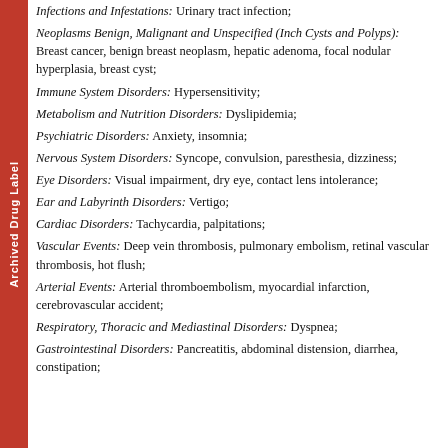Archived Drug Label
Infections and Infestations: Urinary tract infection;
Neoplasms Benign, Malignant and Unspecified (Inch Cysts and Polyps): Breast cancer, benign breast neoplasm, hepatic adenoma, focal nodular hyperplasia, breast cyst;
Immune System Disorders: Hypersensitivity;
Metabolism and Nutrition Disorders: Dyslipidemia;
Psychiatric Disorders: Anxiety, insomnia;
Nervous System Disorders: Syncope, convulsion, paresthesia, dizziness;
Eye Disorders: Visual impairment, dry eye, contact lens intolerance;
Ear and Labyrinth Disorders: Vertigo;
Cardiac Disorders: Tachycardia, palpitations;
Vascular Events: Deep vein thrombosis, pulmonary embolism, retinal vascular thrombosis, hot flush;
Arterial Events: Arterial thromboembolism, myocardial infarction, cerebrovascular accident;
Respiratory, Thoracic and Mediastinal Disorders: Dyspnea;
Gastrointestinal Disorders: Pancreatitis, abdominal distension, diarrhea, constipation;